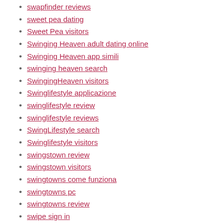swapfinder reviews
sweet pea dating
Sweet Pea visitors
Swinging Heaven adult dating online
Swinging Heaven app simili
swinging heaven search
SwingingHeaven visitors
Swinglifestyle applicazione
swinglifestyle review
swinglifestyle reviews
SwingLifestyle search
Swinglifestyle visitors
swingstown review
swingstown visitors
swingtowns come funziona
swingtowns pc
swingtowns review
swipe sign in
tacoma escort sites
tagged adult dating
tagged pc
taimi adult dating
taiwanese-chat-rooms sign in
talkwithstranger fr esperienze
tampa escort service